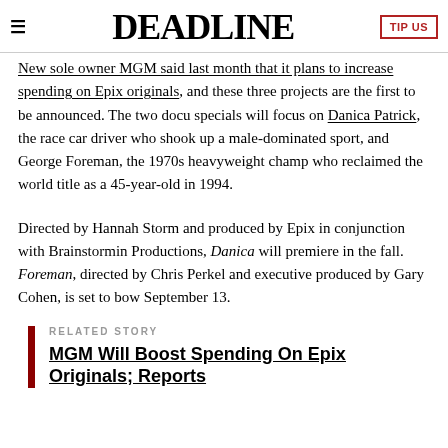≡  DEADLINE  TIP US
New sole owner MGM said last month that it plans to increase spending on Epix originals, and these three projects are the first to be announced. The two docu specials will focus on Danica Patrick, the race car driver who shook up a male-dominated sport, and George Foreman, the 1970s heavyweight champ who reclaimed the world title as a 45-year-old in 1994.
Directed by Hannah Storm and produced by Epix in conjunction with Brainstormin Productions, Danica will premiere in the fall. Foreman, directed by Chris Perkel and executive produced by Gary Cohen, is set to bow September 13.
RELATED STORY
MGM Will Boost Spending On Epix Originals; Reports